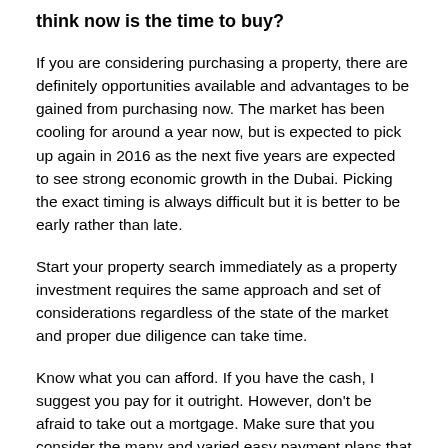think now is the time to buy?
If you are considering purchasing a property, there are definitely opportunities available and advantages to be gained from purchasing now. The market has been cooling for around a year now, but is expected to pick up again in 2016 as the next five years are expected to see strong economic growth in the Dubai. Picking the exact timing is always difficult but it is better to be early rather than late.
Start your property search immediately as a property investment requires the same approach and set of considerations regardless of the state of the market and proper due diligence can take time.
Know what you can afford. If you have the cash, I suggest you pay for it outright. However, don't be afraid to take out a mortgage. Make sure that you consider the many and varied easy payment plans that are currently on offer as many of these plans will save you considerable amounts of money.
Think carefully about location, surrounding infrastructure, construction quality, and developer reputation and building amenities. Recognising which areas close to the beach with premium amenities...